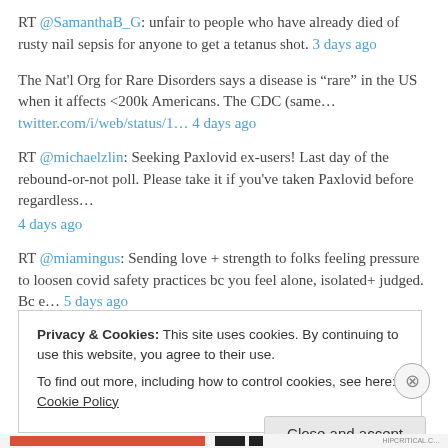RT @SamanthaB_G: unfair to people who have already died of rusty nail sepsis for anyone to get a tetanus shot. 3 days ago
The Nat'l Org for Rare Disorders says a disease is “rare” in the US when it affects <200k Americans. The CDC (same… twitter.com/i/web/status/1… 4 days ago
RT @michaelzlin: Seeking Paxlovid ex-users! Last day of the rebound-or-not poll. Please take it if you've taken Paxlovid before regardless… 4 days ago
RT @miamingus: Sending love + strength to folks feeling pressure to loosen covid safety practices bc you feel alone, isolated+ judged. Bc e… 5 days ago
Privacy & Cookies: This site uses cookies. By continuing to use this website, you agree to their use.
To find out more, including how to control cookies, see here: Cookie Policy
Close and accept